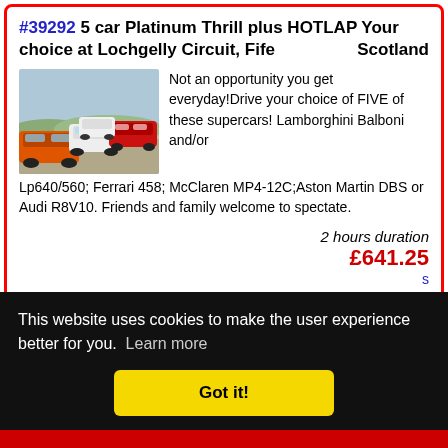#39292 5 car Platinum Thrill plus HOTLAP Your choice at Lochgelly Circuit, Fife  Scotland
[Figure (photo): A group of supercars parked on a race circuit, including orange and white Lamborghinis and other sports cars]
Not an opportunity you get everyday!Drive your choice of FIVE of these supercars! Lamborghini Balboni and/or Lp640/560; Ferrari 458; McClaren MP4-12C;Aston Martin DBS or Audi R8V10. Friends and family welcome to spectate.
2 hours duration
£641.25
This website uses cookies to make the user experience better for you.  Learn more
Got it!